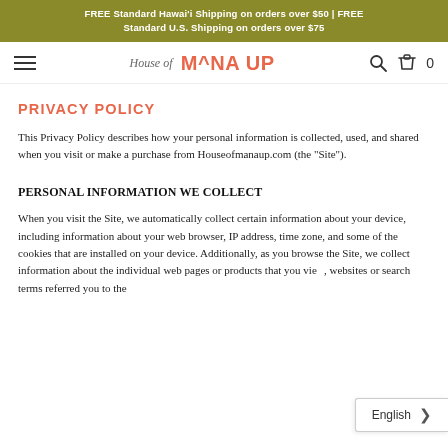FREE Standard Hawai'i Shipping on orders over $50 | FREE Standard U.S. Shipping on orders over $75
[Figure (logo): House of Mana Up logo with hamburger menu, search icon, and cart icon showing 0 items]
PRIVACY POLICY
This Privacy Policy describes how your personal information is collected, used, and shared when you visit or make a purchase from Houseofmanaup.com (the "Site").
PERSONAL INFORMATION WE COLLECT
When you visit the Site, we automatically collect certain information about your device, including information about your web browser, IP address, time zone, and some of the cookies that are installed on your device. Additionally, as you browse the Site, we collect information about the individual web pages or products that you view, websites or search terms referred you to the